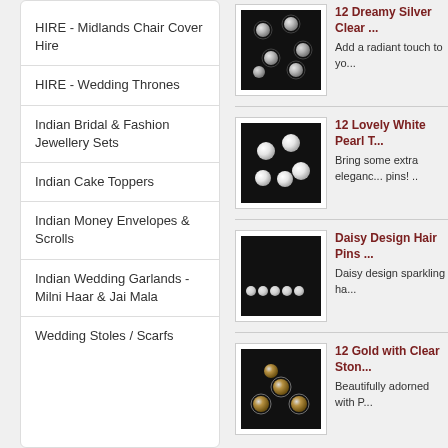HIRE - Midlands Chair Cover Hire
HIRE - Wedding Thrones
Indian Bridal & Fashion Jewellery Sets
Indian Cake Toppers
Indian Money Envelopes & Scrolls
Indian Wedding Garlands - Milni Haar & Jai Mala
Wedding Stoles / Scarfs
[Figure (photo): Black background with silver clear crystal/gem hair pins arranged in a scattered pattern]
12 Dreamy Silver Clear ... Add a radiant touch to yo...
[Figure (photo): Black background with white pearl bobby pins arranged in a scattered pattern]
12 Lovely White Pearl T... Bring some extra eleganc... pins! ..
[Figure (photo): Black background with daisy design sparkling hair pins in a row]
Daisy Design Hair Pins ... Daisy design sparkling ha...
[Figure (photo): Black background with gold and clear stone swirl hair pins]
12 Gold with Clear Ston... Beautifully adorned with P...